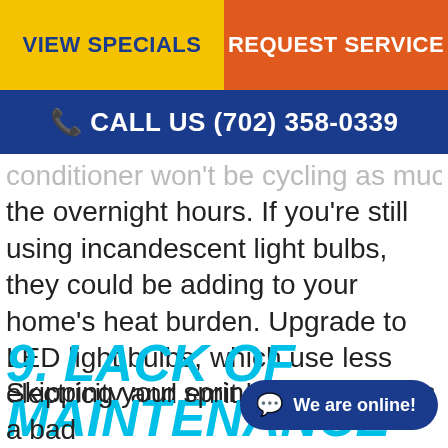VIEW SPECIALS | REQUEST SERVICE
CALL US (702) 358-0339
conditioner won't be cycling as much during the overnight hours. If you're still using incandescent light bulbs, they could be adding to your home's heat burden. Upgrade to LED light bulbs, which use less electricity and emit less heat.
9. LACK OF MAINTENANCE
Skipping your spring AC tune-up is a bad